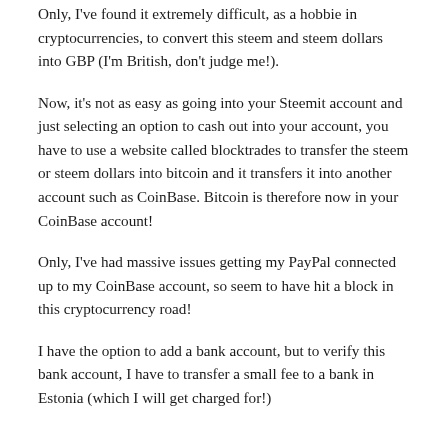Only, I've found it extremely difficult, as a hobbie in cryptocurrencies, to convert this steem and steem dollars into GBP (I'm British, don't judge me!).
Now, it's not as easy as going into your Steemit account and just selecting an option to cash out into your account, you have to use a website called blocktrades to transfer the steem or steem dollars into bitcoin and it transfers it into another account such as CoinBase. Bitcoin is therefore now in your CoinBase account!
Only, I've had massive issues getting my PayPal connected up to my CoinBase account, so seem to have hit a block in this cryptocurrency road!
I have the option to add a bank account, but to verify this bank account, I have to transfer a small fee to a bank in Estonia (which I will get charged for!)